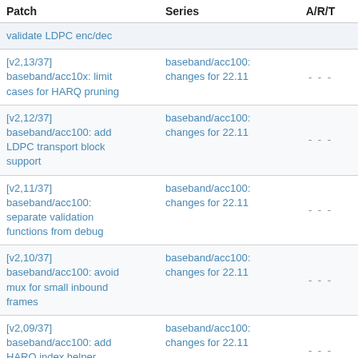| Patch | Series | A/R/T | S/W/F |
| --- | --- | --- | --- |
| validate LDPC enc/dec |  | --- | --- |
| [v2,13/37] baseband/acc10x: limit cases for HARQ pruning | baseband/acc100: changes for 22.11 | - - - | 1 - - |
| [v2,12/37] baseband/acc100: add LDPC transport block support | baseband/acc100: changes for 22.11 | - - - | 1 - - |
| [v2,11/37] baseband/acc100: separate validation functions from debug | baseband/acc100: changes for 22.11 | - - - | 1 - - |
| [v2,10/37] baseband/acc100: avoid mux for small inbound frames | baseband/acc100: changes for 22.11 | - - - | 1 - - |
| [v2,09/37] baseband/acc100: add HARQ index helper function | baseband/acc100: changes for 22.11 | - - - | 1 - - |